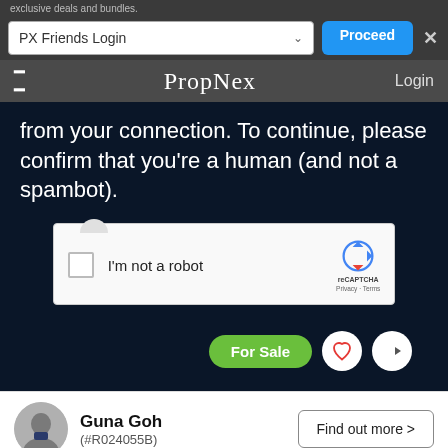exclusive deals and bundles.
PX Friends Login
Proceed
PropNex  Login
from your connection. To continue, please confirm that youâ€™re a human (and not a spambot).
[Figure (screenshot): reCAPTCHA widget with checkbox labeled I'm not a robot and reCAPTCHA logo with Privacy and Terms links]
For Sale
Guna Goh (#R024055B)
Find out more >